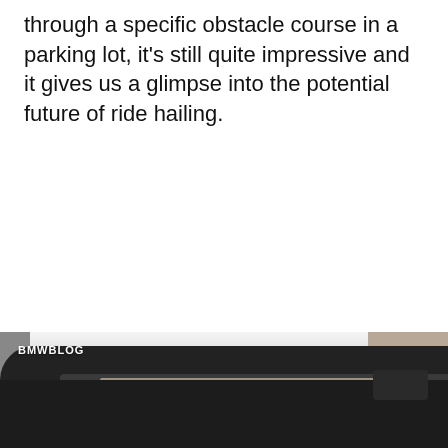through a specific obstacle course in a parking lot, it's still quite impressive and it gives us a glimpse into the potential future of ride hailing.
[Figure (photo): Photograph of a dark-colored BMW sedan, showing the roof and upper body of the car. The image appears to be taken in a parking lot with a building visible in the background on the right. A 'BMWBLOG' watermark is visible in the lower left of the image.]